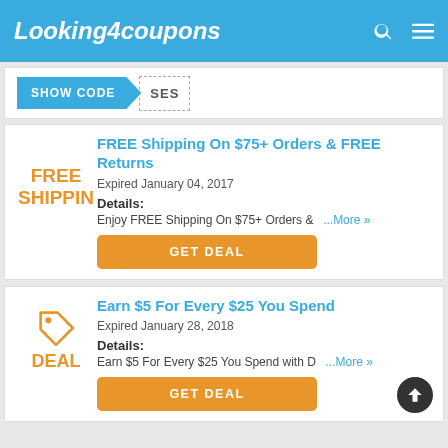Looking4coupons
[Figure (screenshot): Partial coupon card with SHOW CODE button and dashed code reveal area showing 'SES']
FREE Shipping On $75+ Orders & FREE Returns
Expired January 04, 2017
Details: Enjoy FREE Shipping On $75+ Orders & ...More »
GET DEAL
Earn $5 For Every $25 You Spend
Expired January 28, 2018
Details: Earn $5 For Every $25 You Spend with D ...More »
GET DEAL